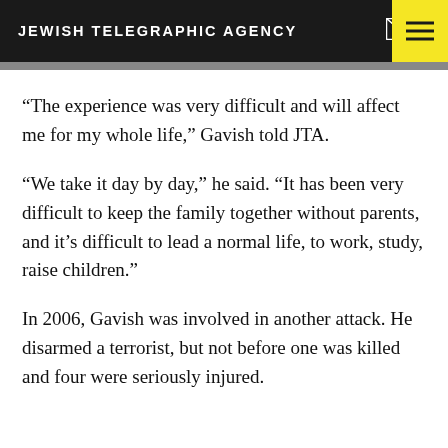JEWISH TELEGRAPHIC AGENCY
“The experience was very difficult and will affect me for my whole life,” Gavish told JTA.
“We take it day by day,” he said. “It has been very difficult to keep the family together without parents, and it’s difficult to lead a normal life, to work, study, raise children.”
In 2006, Gavish was involved in another attack. He disarmed a terrorist, but not before one was killed and four were seriously injured.